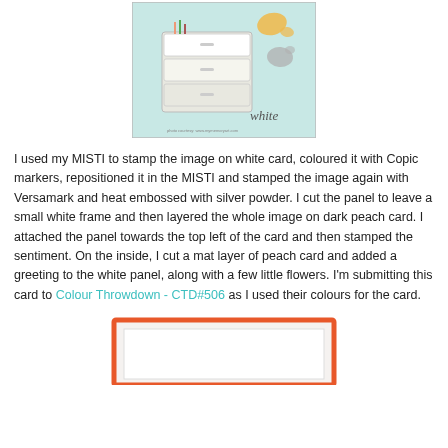[Figure (photo): Photo of a card-making product (MISTI stamping tool) on a teal/mint background with paint splash accents in orange, yellow, and gray. The word 'white' is written in script at the bottom right.]
I used my MISTI to stamp the image on white card, coloured it with Copic markers, repositioned it in the MISTI and stamped the image again with Versamark and heat embossed with silver powder. I cut the panel to leave a small white frame and then layered the whole image on dark peach card. I attached the panel towards the top left of the card and then stamped the sentiment. On the inside, I cut a mat layer of peach card and added a greeting to the white panel, along with a few little flowers. I'm submitting this card to Colour Throwdown - CTD#506 as I used their colours for the card.
[Figure (photo): Partial view of a handmade greeting card with an orange/coral border frame on a white background, shown at the bottom of the page.]